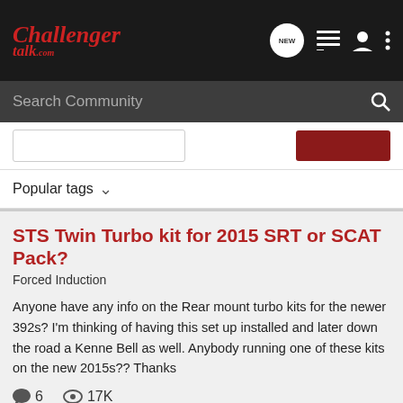Challenger Talk - Search Community
Popular tags
STS Twin Turbo kit for 2015 SRT or SCAT Pack?
Forced Induction
Anyone have any info on the Rear mount turbo kits for the newer 392s? I'm thinking of having this set up installed and later down the road a Kenne Bell as well. Anybody running one of these kits on the new 2015s?? Thanks
6 comments · 17K views
onemurphy24 · Aug 17, 2015
kenne bell
scat pack
srt
sts
twin turbo kit